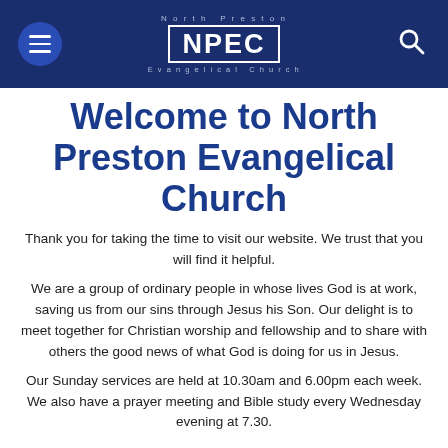North Preston Evangelical Church — NPEC
Welcome to North Preston Evangelical Church
Thank you for taking the time to visit our website. We trust that you will find it helpful.
We are a group of ordinary people in whose lives God is at work, saving us from our sins through Jesus his Son. Our delight is to meet together for Christian worship and fellowship and to share with others the good news of what God is doing for us in Jesus.
Our Sunday services are held at 10.30am and 6.00pm each week. We also have a prayer meeting and Bible study every Wednesday evening at 7.30.